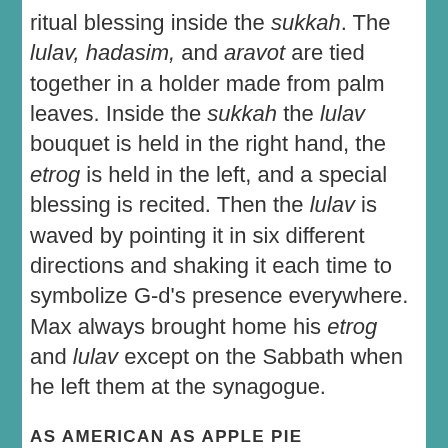ritual blessing inside the sukkah. The lulav, hadasim, and aravot are tied together in a holder made from palm leaves. Inside the sukkah the lulav bouquet is held in the right hand, the etrog is held in the left, and a special blessing is recited. Then the lulav is waved by pointing it in six different directions and shaking it each time to symbolize G-d's presence everywhere. Max always brought home his etrog and lulav except on the Sabbath when he left them at the synagogue.
AS AMERICAN AS APPLE PIE